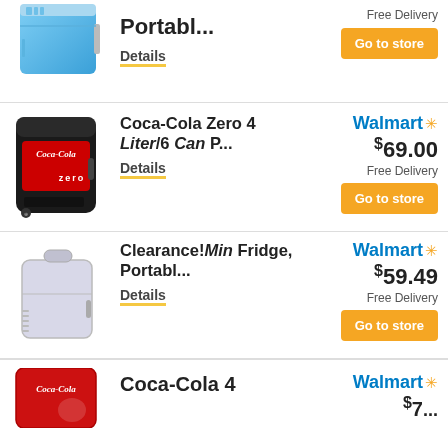[Figure (photo): Partial view of a blue portable mini fridge]
Portabl...
Details
Free Delivery
Go to store
[Figure (photo): Coca-Cola Zero branded mini fridge, black with red Coca-Cola Zero logo]
Coca-Cola Zero 4 Liter/6 Can P...
Details
Walmart
$69.00
Free Delivery
Go to store
[Figure (photo): White/grey portable mini fridge with handle]
Clearance! Mini Fridge, Portabl...
Details
Walmart
$59.49
Free Delivery
Go to store
[Figure (photo): Partial view of a red Coca-Cola branded mini fridge]
Coca-Cola 4
Walmart
$7...